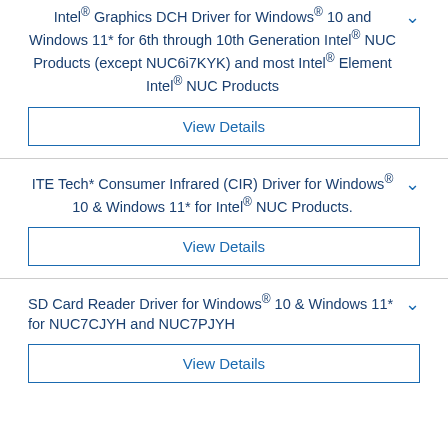Intel® Graphics DCH Driver for Windows® 10 and Windows 11* for 6th through 10th Generation Intel® NUC Products (except NUC6i7KYK) and most Intel® Element Intel® NUC Products
View Details
ITE Tech* Consumer Infrared (CIR) Driver for Windows® 10 & Windows 11* for Intel® NUC Products.
View Details
SD Card Reader Driver for Windows® 10 & Windows 11* for NUC7CJYH and NUC7PJYH
View Details